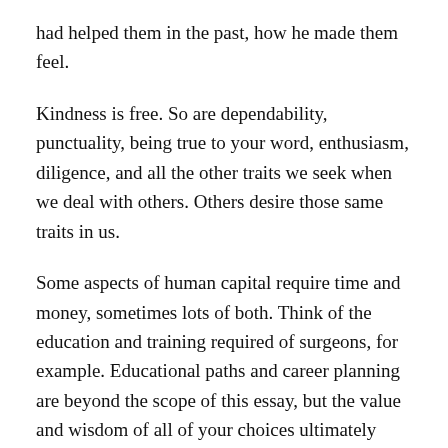had helped them in the past, how he made them feel.
Kindness is free. So are dependability, punctuality, being true to your word, enthusiasm, diligence, and all the other traits we seek when we deal with others. Others desire those same traits in us.
Some aspects of human capital require time and money, sometimes lots of both. Think of the education and training required of surgeons, for example. Educational paths and career planning are beyond the scope of this essay, but the value and wisdom of all of your choices ultimately comes down to whether you figure out how to add value to the rest of society.
We have heard the idea of “follow your passion” debated back and forth. Understand the difference between doing what you are passionate about, and